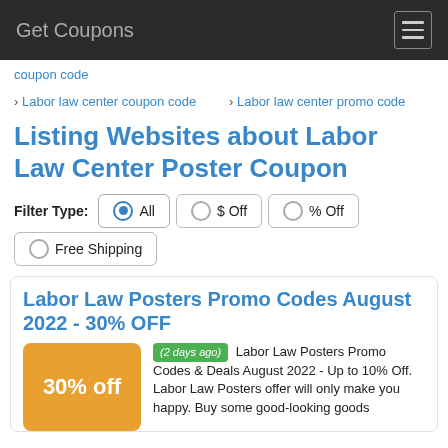Get Coupons
› coupon code
› Labor law center coupon code
› Labor law center promo code
Listing Websites about Labor Law Center Poster Coupon
Filter Type: All  $ Off  % Off  Free Shipping
Labor Law Posters Promo Codes August 2022 - 30% OFF
(2 days ago) Labor Law Posters Promo Codes & Deals August 2022 - Up to 10% Off. Labor Law Posters offer will only make you happy. Buy some good-looking goods